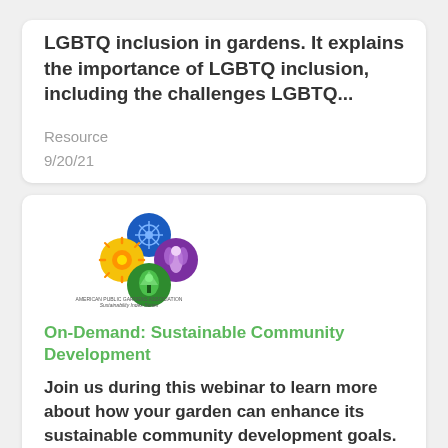LGBTQ inclusion in gardens. It explains the importance of LGBTQ inclusion, including the challenges LGBTQ...
Resource
9/20/21
[Figure (logo): American Public Gardens Association Sustainability Index Series logo — four circular icons in blue, yellow/orange, purple, and green arranged in a flower pattern]
On-Demand: Sustainable Community Development
Join us during this webinar to learn more about how your garden can enhance its sustainable community development goals. Gardens across the globe are learning how they can better serve and engage their communities with the goal of